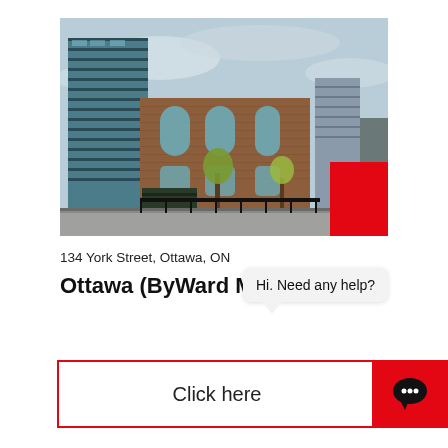[Figure (photo): Street-level photograph of a mixed-use residential building complex at 134 York Street, Ottawa, ON. Shows a tall glass-and-steel high-rise behind lower brick townhouse units with large windows. Autumn trees visible. Red block overlay in bottom-right corner of image.]
134 York Street, Ottawa, ON
Ottawa (ByWard Market…
Hi. Need any help?
Click here